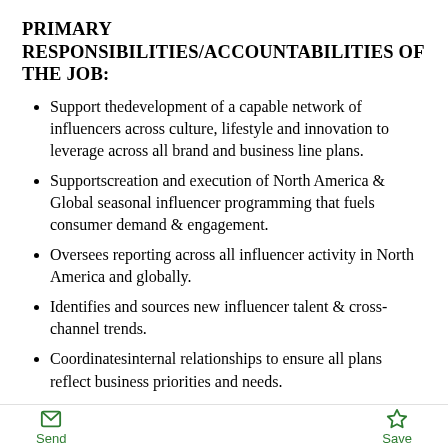PRIMARY RESPONSIBILITIES/ACCOUNTABILITIES OF THE JOB:
Support thedevelopment of a capable network of influencers across culture, lifestyle and innovation to leverage across all brand and business line plans.
Supportscreation and execution of North America & Global seasonal influencer programming that fuels consumer demand & engagement.
Oversees reporting across all influencer activity in North America and globally.
Identifies and sources new influencer talent & cross-channel trends.
Coordinatesinternal relationships to ensure all plans reflect business priorities and needs.
Identifies, ideates & implements ongoing influencer partnership opportunities across product, content &
Send   Save